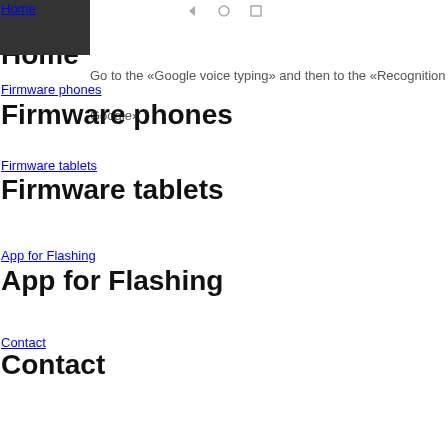Home
Go to the «Google voice typing» and then to the «Recognition Ok, Google»
Home
Home
Firmware phones
Firmware phones
Firmware tablets
Firmware tablets
App for Flashing
App for Flashing
Contact
Contact